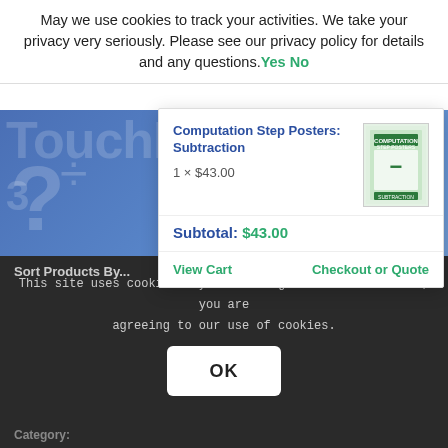May we use cookies to track your activities. We take your privacy very seriously. Please see our privacy policy for details and any questions.Yes No
Computation Step Posters: Subtraction
1 × $43.00
Subtotal: $43.00
View Cart
Checkout or Quote
TouchMath
This site uses cookies. By continuing to browse the site, you are agreeing to our use of cookies.
OK
Sort Products By...
Category: